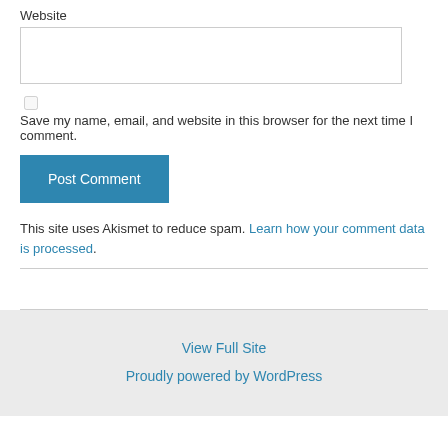Website
Save my name, email, and website in this browser for the next time I comment.
Post Comment
This site uses Akismet to reduce spam. Learn how your comment data is processed.
View Full Site
Proudly powered by WordPress